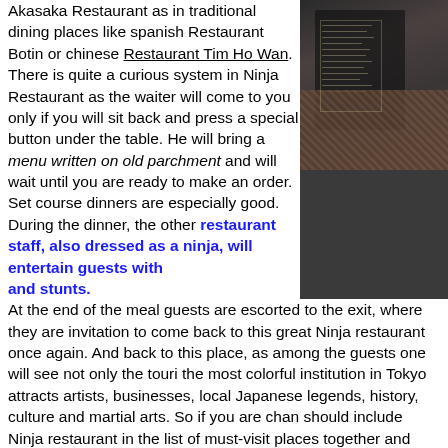Akasaka Restaurant as in traditional dining places like spanish Restaurant Botin or chinese Restaurant Tim Ho Wan. There is quite a curious system in Ninja Restaurant as the waiter will come to you only if you will sit back and press a special button under the table. He will bring a menu written on old parchment and will wait until you are ready to make an order. Set course dinners are especially good. During the dinner, the other restaurant staff, also dressed as a ninja, will entertain guests with and stunts.
[Figure (photo): Dark photo of a menu book on a woven table surface, dimly lit restaurant setting]
At the end of the meal guests are escorted to the exit, where they are invitation to come back to this great Ninja restaurant once again. And back to this place, as among the guests one will see not only the touri the most colorful institution in Tokyo attracts artists, businesses, local Japanese legends, history, culture and martial arts. So if you are chan should include Ninja restaurant in the list of must-visit places together and astounding Nyotaimori Cannibalistic Restaurant.
Delicious meals and unforgettable show
It's fair to say that the food in the restaurant is on the same height a can be called magnificent not only for their original names and fancy o unusual harmony of taste.  You will have a chance to taste star grissin escargot and a special stone-boiled soup. The money spent for dinner usually be 1.5-2 times higher than for the evening in the other Tokyo